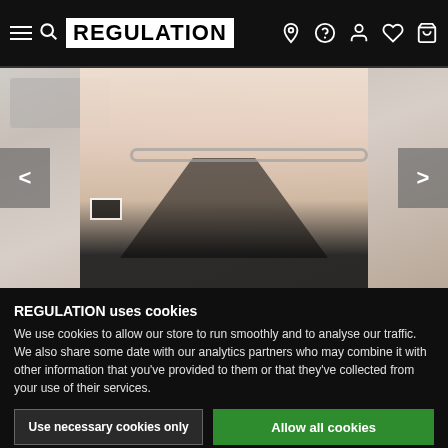REGULATION navigation bar with logo and icons
[Figure (photo): A man wearing a black leather harness vest and chain necklace with a black armband, shirtless, photographed in a kitchen setting with a range hood visible in the background.]
REGULATION uses cookies
We use cookies to allow our store to run smoothly and to analyse our traffic. We also share some date with our analytics partners who may combine it with other information that you've provided to them or that they've collected from your use of their services.
Use necessary cookies only | Allow all cookies
Show d...